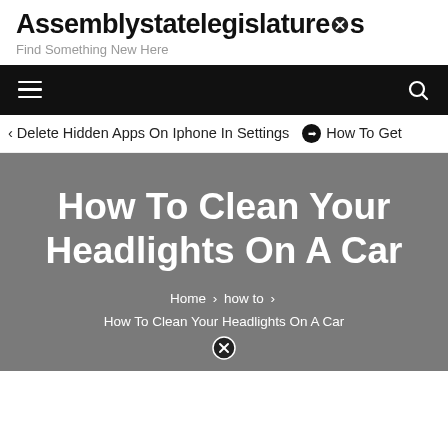Assemblystatelegislatures
Find Something New Here
Delete Hidden Apps On Iphone In Settings   ➡   How To Get
How To Clean Your Headlights On A Car
Home > how to > How To Clean Your Headlights On A Car